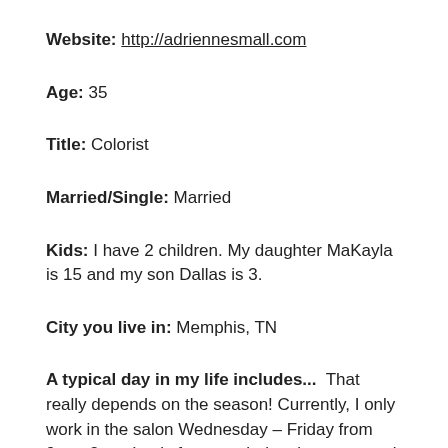Website: http://adriennesmall.com
Age: 35
Title: Colorist
Married/Single: Married
Kids: I have 2 children. My daughter MaKayla is 15 and my son Dallas is 3.
City you live in: Memphis, TN
A typical day in my life includes... That really depends on the season! Currently, I only work in the salon Wednesday – Friday from 9am- 3pm. I only focus on hair color on natural hair. What